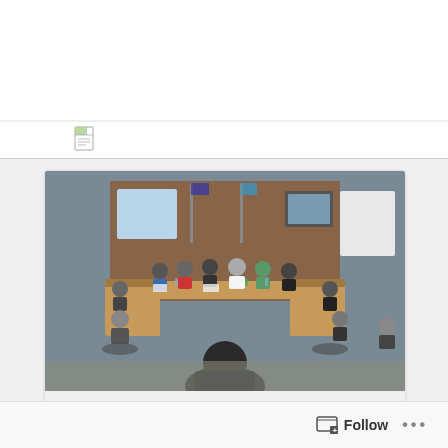[Figure (photo): Group of people seated around a U-shaped conference table in a boardroom setting, with flags and presentation boards visible in the background. A speaker is seen from behind in the foreground.]
Privilege Speech in front of the eleven (11) Board of Directors and the General Manager of Papio–Missouri River Natural Resources District (P–MRNRD)